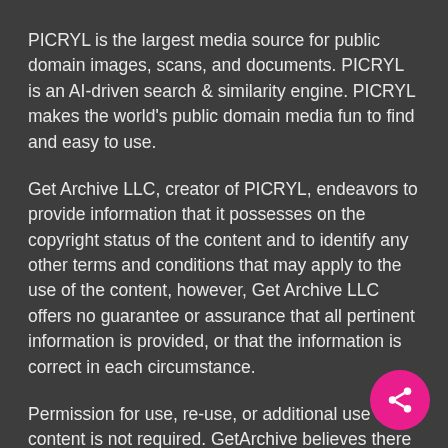PICRYL is the largest media source for public domain images, scans, and documents. PICRYL is an AI-driven search & similarity engine. PICRYL makes the world's public domain media fun to find and easy to use.
Get Archive LLC, creator of PICRYL, endeavors to provide information that it possesses on the copyright status of the content and to identify any other terms and conditions that may apply to the use of the content, however, Get Archive LLC offers no guarantee or assurance that all pertinent information is provided, or that the information is correct in each circumstance.
Permission for use, re-use, or additional use of the content is not required. GetArchive believes there are no usage restrictions or limitations put on content in the U.S. Get Archive LLC does not charge permission and license fees for use of any of the content on PICRYL, however, upon request, GetArchive can provide rights clearance for content for a fee.
Get Archive LLC is the owner of the compilation of content posted on the PICRYL website and applications, which cons… text, images, audio, video, databases, tags, design, codes, and